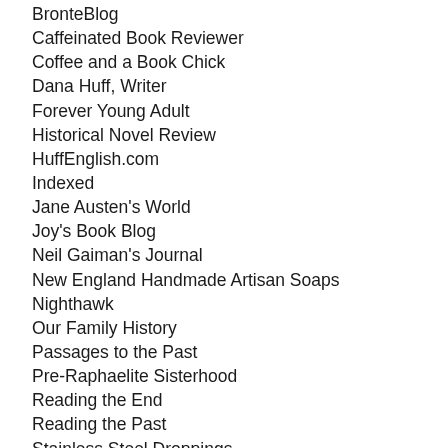BronteBlog
Caffeinated Book Reviewer
Coffee and a Book Chick
Dana Huff, Writer
Forever Young Adult
Historical Novel Review
HuffEnglish.com
Indexed
Jane Austen's World
Joy's Book Blog
Neil Gaiman's Journal
New England Handmade Artisan Soaps
Nighthawk
Our Family History
Passages to the Past
Pre-Raphaelite Sisterhood
Reading the End
Reading the Past
Stainless Steel Droppings
Theodora Goss: Poems